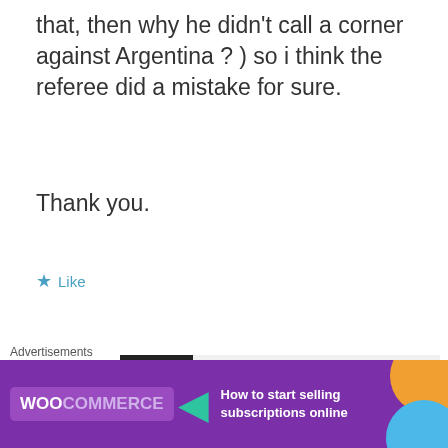that, then why he didn't call a corner against Argentina ? ) so i think the referee did a mistake for sure.
Thank you.
Like
Jenna
June 23, 2014 9:23 am
[Figure (logo): Tottenham Hotspur logo on a grey background]
Yes, it should have at least been
Advertisements
[Figure (screenshot): WooCommerce advertisement banner: How to start selling subscriptions online]